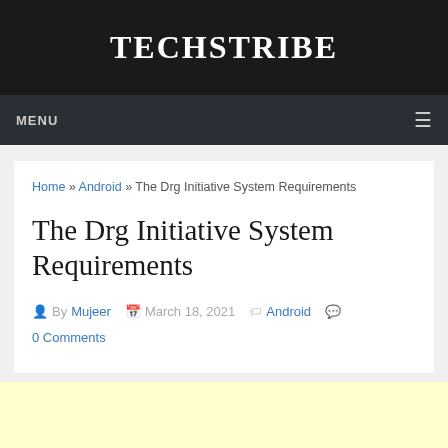TECHSTRIBE
MENU
Home » Android » The Drg Initiative System Requirements
The Drg Initiative System Requirements
By Mujeer   March 18, 2021   Android   0 Comments